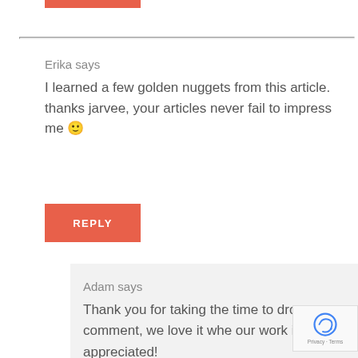[Figure (other): Top portion of a Reply button (coral/orange-red colored rectangle, partially cropped at top of page)]
Erika says
I learned a few golden nuggets from this article. thanks jarvee, your articles never fail to impress me 🙂
[Figure (other): Reply button — coral/orange-red rectangle with white text 'REPLY']
Adam says
Thank you for taking the time to drop a comment, we love it whe our work is appreciated!